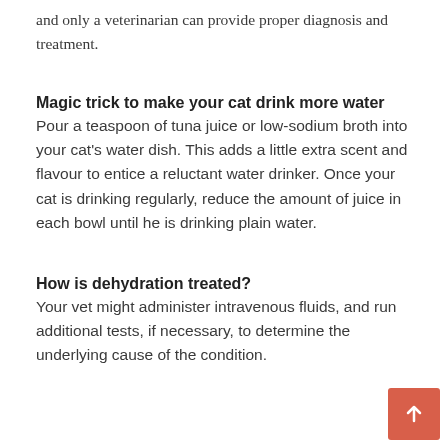and only a veterinarian can provide proper diagnosis and treatment.
Magic trick to make your cat drink more water
Pour a teaspoon of tuna juice or low-sodium broth into your cat's water dish. This adds a little extra scent and flavour to entice a reluctant water drinker. Once your cat is drinking regularly, reduce the amount of juice in each bowl until he is drinking plain water.
How is dehydration treated?
Your vet might administer intravenous fluids, and run additional tests, if necessary, to determine the underlying cause of the condition.